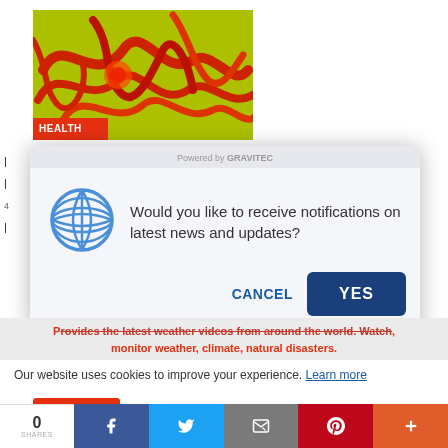[Figure (photo): Close-up abstract image of red/orange worm-like shapes on yellow-green background with HEALTH badge overlay]
| ... |
[Figure (screenshot): Browser notification popup modal: 'Powered by GRAVITEC' header, globe icon, text 'Would you like to receive notifications on latest news and updates?', CANCEL and YES buttons]
Provides the latest weather videos from around the world. Watch, monitor weather, climate, natural disasters.
Our website uses cookies to improve your experience. Learn more
Accept !
0 SHARES | Facebook | Twitter | Email | Pinterest | Plus